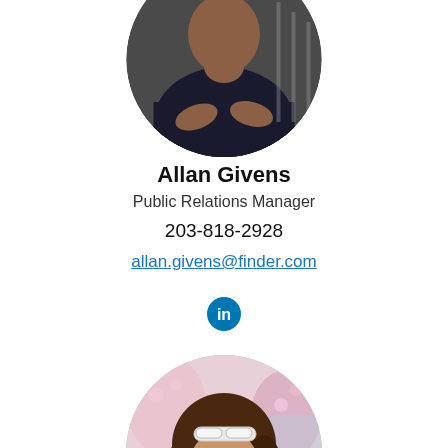[Figure (photo): Circular cropped headshot photo of a man in a dark sweater, positioned at the top center of the page, partially cropped]
Allan Givens
Public Relations Manager
203-818-2928
allan.givens@finder.com
[Figure (logo): LinkedIn icon — blue circle with white 'in' text]
[Figure (photo): Circular cropped headshot photo of a smiling young woman with long brown wavy hair and white sunglasses on her head, outdoors with pink flowers in background]